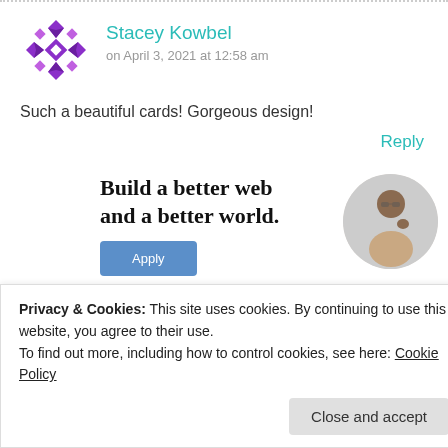Stacey Kowbel
on April 3, 2021 at 12:58 am
Such a beautiful cards! Gorgeous design!
Reply
Build a better web and a better world.
[Figure (other): Apply button for job advertisement with a circular photo of a man looking up thoughtfully]
Privacy & Cookies: This site uses cookies. By continuing to use this website, you agree to their use.
To find out more, including how to control cookies, see here: Cookie Policy
Close and accept